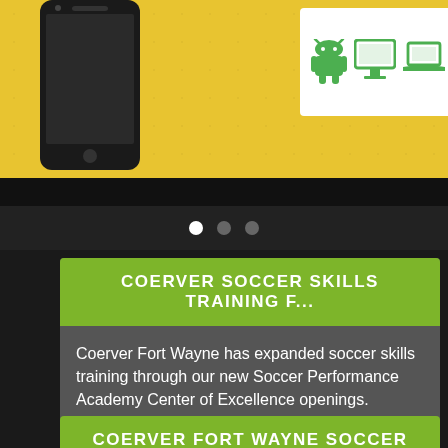[Figure (screenshot): Top yellow section with smartphone silhouette on left and Android/desktop/laptop icons in white box on right, on golden/yellow soccer-patterned background]
[Figure (infographic): Navigation dots indicator: three dots — white filled (active), dark gray, dark gray]
COERVER SOCCER SKILLS TRAINING F...
Coerver Fort Wayne has expanded soccer skills training through our new Soccer Performance Academy Center of Excellence openings. Throughout the winter, come improve your soccer skills with us and get individualized soccer training with Coerver Coaching, the World's Number One Soccer Skills Training Program.
COERVER FORT WAYNE SOCCER CAMPS